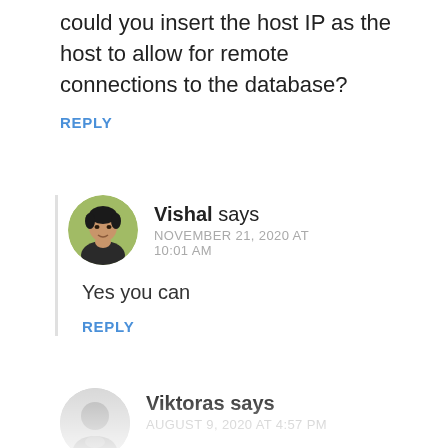could you insert the host IP as the host to allow for remote connections to the database?
REPLY
Vishal says
NOVEMBER 21, 2020 AT 10:01 AM
Yes you can
REPLY
Viktoras says
AUGUST 9, 2020 AT 4:57 PM